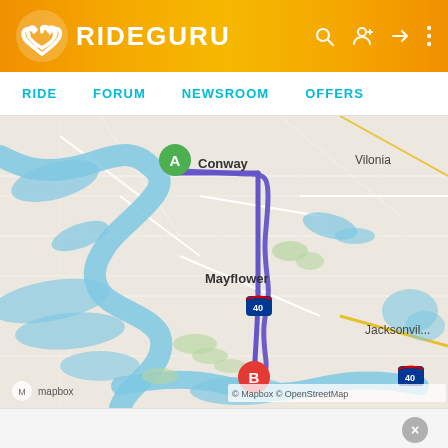RIDEGURU
RIDE  FORUM  NEWSROOM  OFFERS
[Figure (map): Map showing route from point A (Conway, AR) to point B destination, passing through Mayflower. Route shown as purple/blue line. Map includes river (Arkansas River), towns: Conway, Vilonia, Mayflower, Jacksonville. Interstate 40 marker visible. Map attribution: mapbox, Mapbox, OpenStreetMap.]
Uber Updates Safety Toolkit